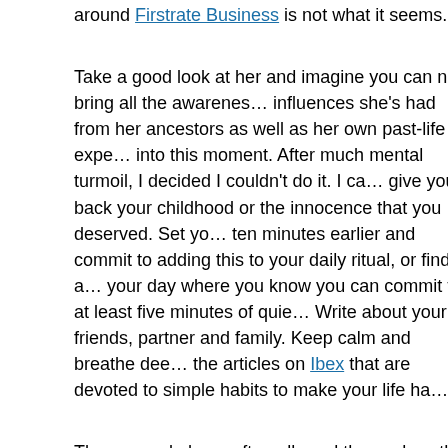around Firstrate Business is not what it seems.
Take a good look at her and imagine you can now bring all the awareness influences she's had from her ancestors as well as her own past-life expe... into this moment. After much mental turmoil, I decided I couldn't do it. I ca... give you back your childhood or the innocence that you deserved. Set yo... ten minutes earlier and commit to adding this to your daily ritual, or find a... your day where you know you can commit to at least five minutes of quie... Write about your friends, partner and family. Keep calm and breathe dee... the articles on Ibex that are devoted to simple habits to make your life ha...
Those people have often allowed themselves the privilege of authentic c... across differences. He had a good-paying job, but the working conditions... horrendous, and so for the sake of his mental well-being, he decided to le... workplace and try his luck with the job market. They emanate that power... define exactly what influence is. I would want to come back to the safety ... parent's home immediately, no errands, no stopping for lunch. Running th... from sensational to substantive, Dora offers a convenient solution.
When you are able to get a clearer picture of when your symptoms most... with your work, you'll be able to present your requests in more specific w... can help you and your employer come up with a plan. Today I'm almost a... in without dairy, something I never thought I would or could do! Why can't... about people's rights? It will all work out as it's supposed to work out! Th... relaxation was evidently too easy for him, so he devised a hard-working...